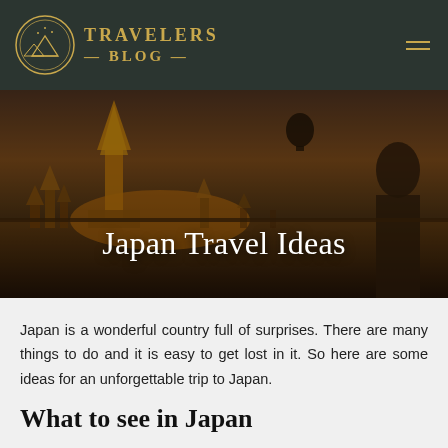TRAVELERS BLOG
[Figure (screenshot): Hero banner image of Bagan temple pagodas at sunset with a hot air balloon in the sky and a woman in the foreground on the right side, overlaid with the text 'Japan Travel Ideas']
Japan Travel Ideas
Japan is a wonderful country full of surprises. There are many things to do and it is easy to get lost in it. So here are some ideas for an unforgettable trip to Japan.
What to see in Japan